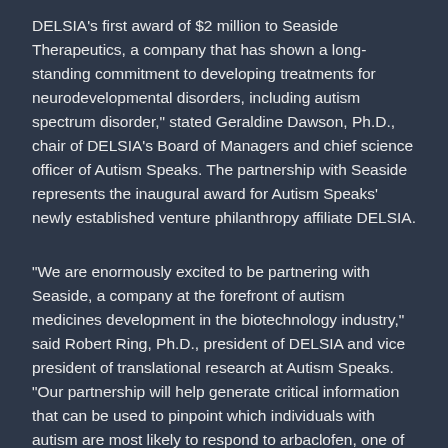DELSIA's first award of $2 million to Seaside Therapeutics, a company that has shown a long-standing commitment to developing treatments for neurodevelopmental disorders, including autism spectrum disorder," stated Geraldine Dawson, Ph.D., chair of DELSIA's Board of Managers and chief science officer of Autism Speaks. The partnership with Seaside represents the inaugural award for Autism Speaks' newly established venture philanthropy affiliate DELSIA.
“We are enormously excited to be partnering with Seaside, a company at the forefront of autism medicines development in the biotechnology industry," said Robert Ring, Ph.D., president of DELSIA and vice president of translational research at Autism Speaks. “Our partnership will help generate critical information that can be used to pinpoint which individuals with autism are most likely to respond to arbaclofen, one of the first treatments that has